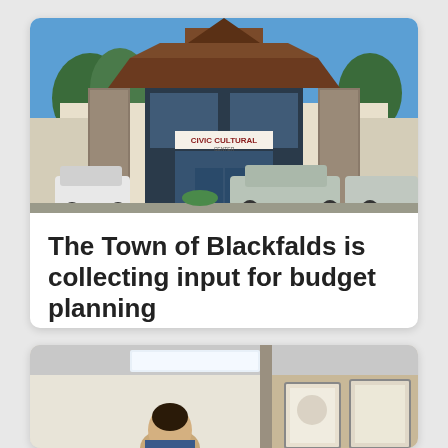[Figure (photo): Exterior photo of the Civic Cultural Center building in Blackfalds, with stone pillars, large windows, and cars parked in front under a blue sky.]
The Town of Blackfalds is collecting input for budget planning
[Figure (photo): Interior photo of an office or community space, partially visible, showing a person and framed artwork on the wall.]